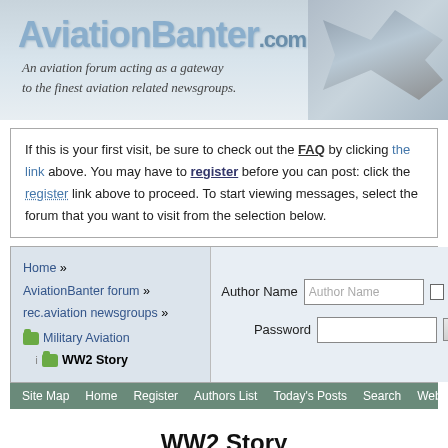[Figure (screenshot): AviationBanter.com website header banner with logo text and tagline 'An aviation forum acting as a gateway to the finest aviation related newsgroups.' with aircraft silhouette on right]
If this is your first visit, be sure to check out the FAQ by clicking the link above. You may have to register before you can post: click the register link above to proceed. To start viewing messages, select the forum that you want to visit from the selection below.
Home » AviationBanter forum » rec.aviation newsgroups » Military Aviation | WW2 Story
Author Name [field] Remember Me? Password [field] Log in
Site Map   Home   Register   Authors List   Today's Posts   Search   Web Partners
WW2 Story